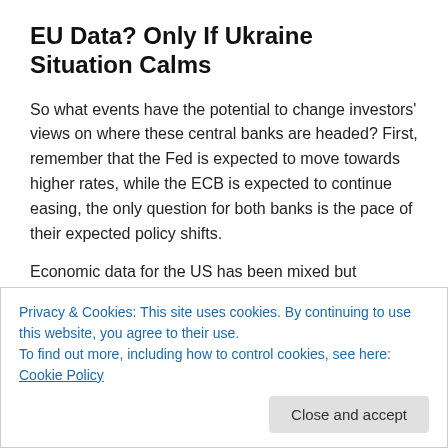EU Data? Only If Ukraine Situation Calms
So what events have the potential to change investors' views on where these central banks are headed? First, remember that the Fed is expected to move towards higher rates, while the ECB is expected to continue easing, the only question for both banks is the pace of their expected policy shifts.
Economic data for the US has been mixed but continues
Privacy & Cookies: This site uses cookies. By continuing to use this website, you agree to their use.
To find out more, including how to control cookies, see here: Cookie Policy